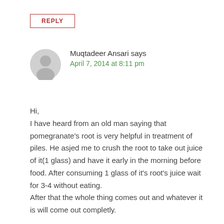REPLY
Muqtadeer Ansari says
April 7, 2014 at 8:11 pm
Hi,
I have heard from an old man saying that pomegranate's root is very helpful in treatment of piles. He asjed me to crush the root to take out juice of it(1 glass) and have it early in the morning before food. After consuming 1 glass of it's root's juice wait for 3-4 without eating.
After that the whole thing comes out and whatever it is will come out completly.